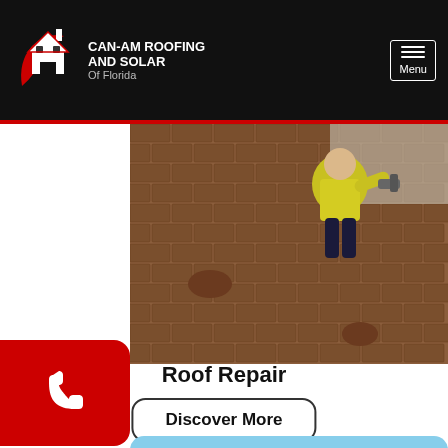[Figure (logo): Can-Am Roofing and Solar of Florida logo with house icon on black header bar, and Menu button top right]
[Figure (photo): Worker in yellow hi-vis vest using nail gun on a residential roof with brown shingles]
Roof Repair
Discover More
[Figure (other): Blue rounded card partially visible at bottom of page]